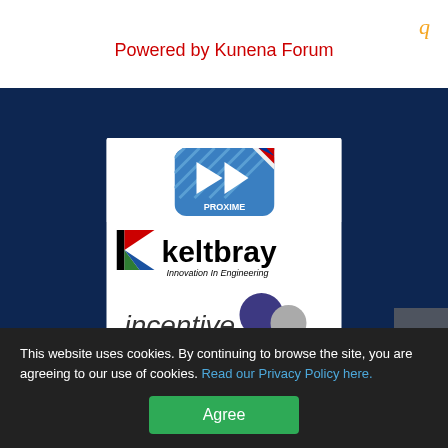q
Powered by Kunena Forum
[Figure (logo): Dark blue banner containing a white card with three company logos: Proxime (blue app icon with play buttons), Keltbray (black text with red/green/blue triangular K logo, tagline 'Innovation In Engineering'), and Incentive fm group limited (purple and grey circles logo)]
This website uses cookies. By continuing to browse the site, you are agreeing to our use of cookies. Read our Privacy Policy here.
Agree